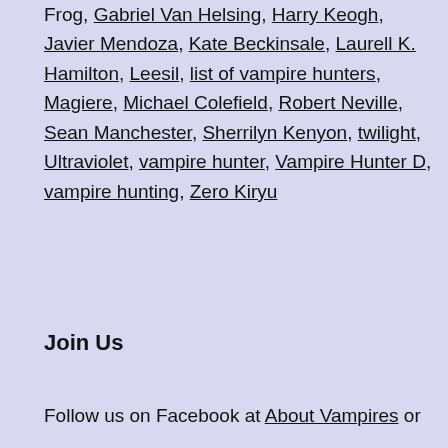Frog, Gabriel Van Helsing, Harry Keogh, Javier Mendoza, Kate Beckinsale, Laurell K. Hamilton, Leesil, list of vampire hunters, Magiere, Michael Colefield, Robert Neville, Sean Manchester, Sherrilyn Kenyon, twilight, Ultraviolet, vampire hunter, Vampire Hunter D, vampire hunting, Zero Kiryu
Join Us
Follow us on Facebook at About Vampires or